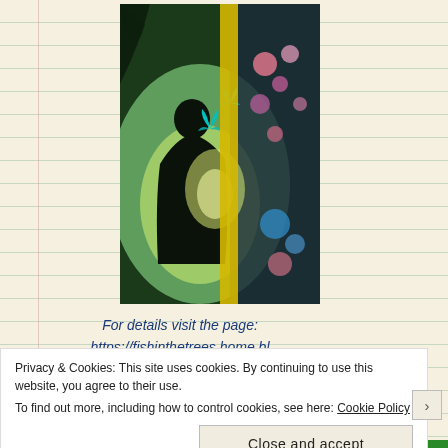[Figure (illustration): Book cover of 'The Forest Bed' by Manpreet Kaur and Ily Agrawal. Shows a dark silhouette of a person against a glowing green forest background with butterflies and colorful flowers. Title text 'The Forest Bed' runs vertically in white, and author names appear on a yellow/gold spine strip.]
For details visit the page: https://fishinthetrees.home.blog/2021/06/23/the-forest-
Privacy & Cookies: This site uses cookies. By continuing to use this website, you agree to their use.
To find out more, including how to control cookies, see here: Cookie Policy
Close and accept